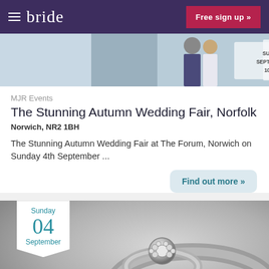bride — Free sign up »
[Figure (photo): Wedding couple photo banner with text: SUNDAY 4TH SEPTEMBER 2022 10AM - 4PM]
MJR Events
The Stunning Autumn Wedding Fair, Norfolk
Norwich, NR2 1BH
The Stunning Autumn Wedding Fair at The Forum, Norwich on Sunday 4th September ...
Find out more »
[Figure (photo): Black and white photo of a diamond cluster ring, with a date badge showing Sunday 04 September]